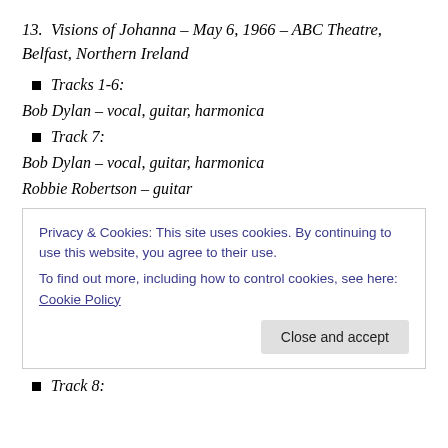13. Visions of Johanna – May 6, 1966 – ABC Theatre, Belfast, Northern Ireland
Tracks 1-6:
Bob Dylan – vocal, guitar, harmonica
Track 7:
Bob Dylan – vocal, guitar, harmonica
Robbie Robertson – guitar
Privacy & Cookies: This site uses cookies. By continuing to use this website, you agree to their use.
To find out more, including how to control cookies, see here: Cookie Policy
Track 8: